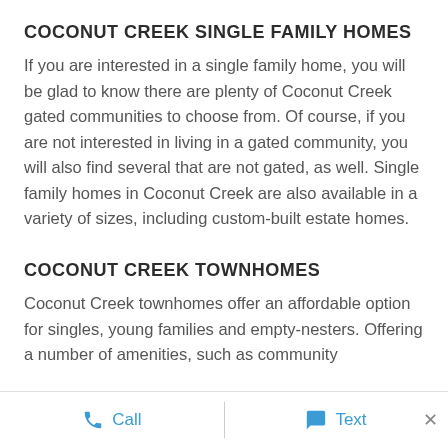COCONUT CREEK SINGLE FAMILY HOMES
If you are interested in a single family home, you will be glad to know there are plenty of Coconut Creek gated communities to choose from. Of course, if you are not interested in living in a gated community, you will also find several that are not gated, as well. Single family homes in Coconut Creek are also available in a variety of sizes, including custom-built estate homes.
COCONUT CREEK TOWNHOMES
Coconut Creek townhomes offer an affordable option for singles, young families and empty-nesters. Offering a number of amenities, such as community
Call   Text   ×